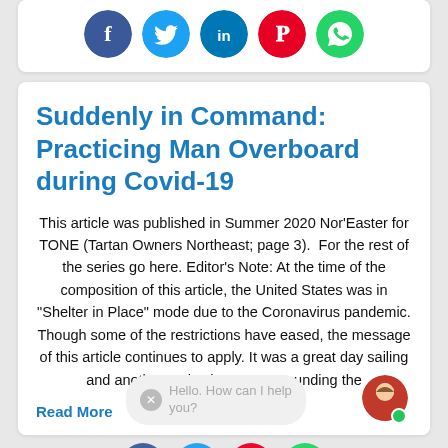[Figure (infographic): Social media sharing icons: Facebook (blue), Twitter (light blue), LinkedIn (blue), Pinterest (red), WhatsApp (green) — circular buttons in a row]
Suddenly in Command: Practicing Man Overboard during Covid-19
This article was published in Summer 2020 Nor'Easter for TONE (Tartan Owners Northeast; page 3).  For the rest of the series go here. Editor's Note: At the time of the composition of this article, the United States was in "Shelter in Place" mode due to the Coronavirus pandemic. Though some of the restrictions have eased, the message of this article continues to apply. It was a great day sailing and another majestic sunset. Rounding the
Read More
[Figure (screenshot): Chat widget with close button and text: Hello. How can I help you? with avatar photo of woman with green online indicator dot]
[Figure (infographic): Bottom row of social media sharing icons partially visible: Facebook, Twitter, Pinterest, WhatsApp]